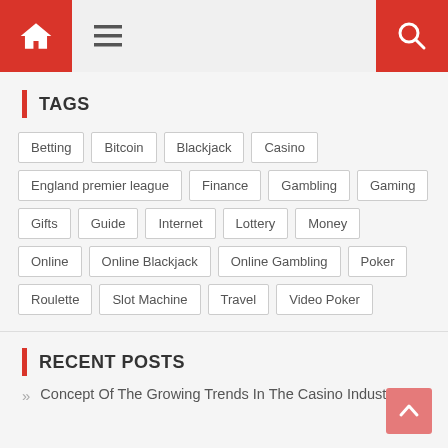Navigation header with home icon, hamburger menu, and search icon
TAGS
Betting
Bitcoin
Blackjack
Casino
England premier league
Finance
Gambling
Gaming
Gifts
Guide
Internet
Lottery
Money
Online
Online Blackjack
Online Gambling
Poker
Roulette
Slot Machine
Travel
Video Poker
RECENT POSTS
Concept Of The Growing Trends In The Casino Industry